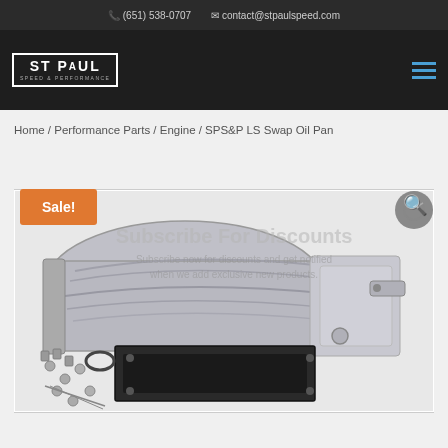(651) 538-0707  contact@stpaulspeed.com
[Figure (logo): ST PAUL Speed & Performance logo - white text on dark background in bordered box]
Home / Performance Parts / Engine / SPS&P LS Swap Oil Pan
Sale!
Subscribe For Discounts
Subscribe now for discounts and get notified when we add exclusive new products.
[Figure (photo): SPS&P LS Swap Oil Pan product photo showing aluminum oil pan, gasket, hardware kit laid out on white background]